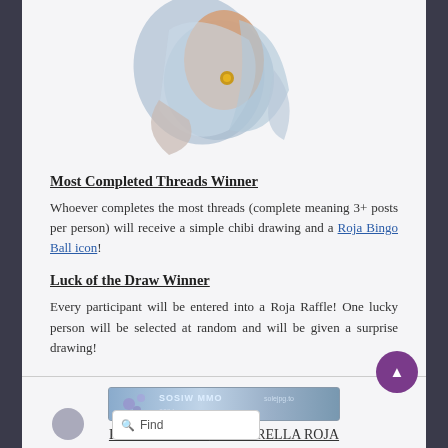[Figure (illustration): Partial view of a chibi-style anime character illustration with blue/grey flowing fabric and warm skin tones]
Most Completed Threads Winner
Whoever completes the most threads (complete meaning 3+ posts per person) will receive a simple chibi drawing and a Roja Bingo Ball icon!
Luck of the Draw Winner
Every participant will be entered into a Roja Raffle! One lucky person will be selected at random and will be given a surprise drawing!
[Figure (illustration): Small banner image with text SOSIW MMO or similar stylized text]
PLAYER WIKI • LA ESTRELLA ROJA
Casimir ◆ Landon ◆ Rosemary ◆ Lyra